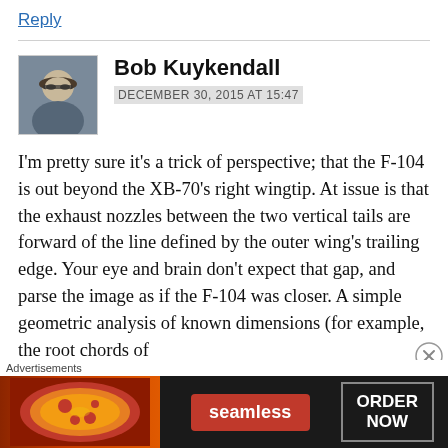Reply
[Figure (photo): Avatar photo of Bob Kuykendall, a person wearing sunglasses and a hat]
Bob Kuykendall
DECEMBER 30, 2015 AT 15:47
I'm pretty sure it's a trick of perspective; that the F-104 is out beyond the XB-70's right wingtip. At issue is that the exhaust nozzles between the two vertical tails are forward of the line defined by the outer wing's trailing edge. Your eye and brain don't expect that gap, and parse the image as if the F-104 was closer. A simple geometric analysis of known dimensions (for example, the root chords of the XB...
[Figure (screenshot): Seamless food delivery advertisement with pizza image, Seamless logo in red, and ORDER NOW button]